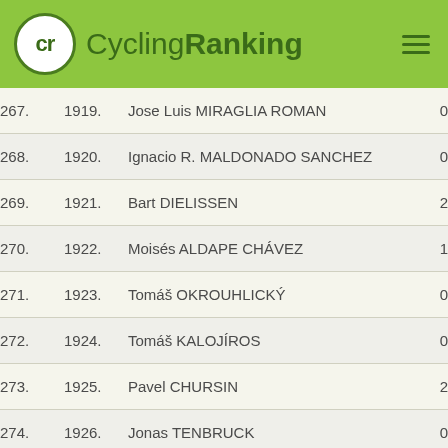CyclingRanking
| Rank | No. | Name | Score |
| --- | --- | --- | --- |
| 267. | 1919. | Jose Luis MIRAGLIA ROMAN | 0 |
| 268. | 1920. | Ignacio R. MALDONADO SANCHEZ | 0 |
| 269. | 1921. | Bart DIELISSEN | 2 |
| 270. | 1922. | Moisés ALDAPE CHÁVEZ | 1 |
| 271. | 1923. | Tomáš OKROUHLICKÝ | 0 |
| 272. | 1924. | Tomáš KALOJÍROS | 0 |
| 273. | 1925. | Pavel CHURSIN | 2 |
| 274. | 1926. | Jonas TENBRUCK | 0 |
| 275. | 1927. | Noel MARTIN INFANTE | 2 |
| 276. | 1928. | Rick NOBEL | 2 |
| 277. | 1929. | Loic DESRIAC | 2 |